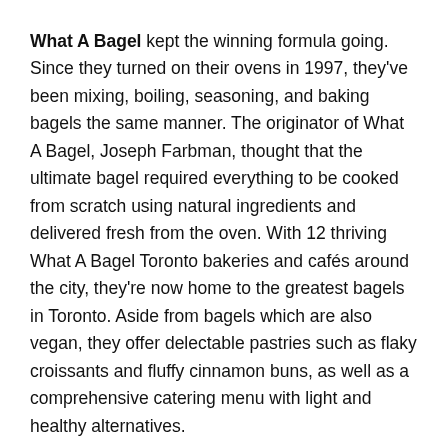What A Bagel kept the winning formula going. Since they turned on their ovens in 1997, they've been mixing, boiling, seasoning, and baking bagels the same manner. The originator of What A Bagel, Joseph Farbman, thought that the ultimate bagel required everything to be cooked from scratch using natural ingredients and delivered fresh from the oven. With 12 thriving What A Bagel Toronto bakeries and cafés around the city, they're now home to the greatest bagels in Toronto. Aside from bagels which are also vegan, they offer delectable pastries such as flaky croissants and fluffy cinnamon buns, as well as a comprehensive catering menu with light and healthy alternatives.
Products/Services:
Bagels, Bakery, Caterer